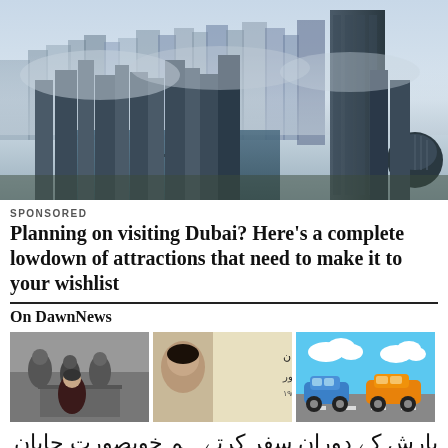[Figure (photo): Aerial view of Dubai Marina skyline with skyscrapers and waterway, fog/clouds in background]
SPONSORED
Planning on visiting Dubai? Here's a complete lowdown of attractions that need to make it to your wishlist
On DawnNews
[Figure (photo): Three thumbnail images: black-and-white photo of people, colored image with Urdu text about Pakistan nightingale Nayara Noor, and cartoon illustration of cars on a road]
بارش کے دوران سفر کرتے ہم خوبصورت جاپان کی اولین